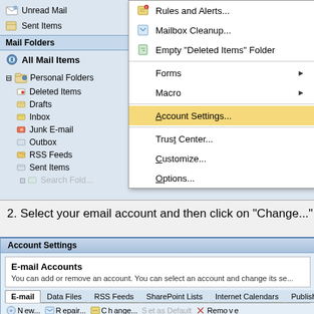[Figure (screenshot): Microsoft Outlook 2007 Tools menu dropdown showing options: Rules and Alerts..., Mailbox Cleanup..., Empty 'Deleted Items' Folder, Forms (submenu), Macro (submenu), Account Settings... (highlighted in yellow), Trust Center..., Customize..., Options... Left panel shows Mail Folders tree with All Mail Items, Personal Folders including Deleted Items, Drafts, Inbox, Junk E-mail, Outbox, RSS Feeds, Sent Items.]
2. Select your email account and then click on "Change..."
[Figure (screenshot): Microsoft Outlook Account Settings dialog showing E-mail Accounts section with text 'You can add or remove an account. You can select an account and change its se...' and tabs: E-mail (active), Data Files, RSS Feeds, SharePoint Lists, Internet Calendars, Published Ca... Bottom toolbar shows New, Repair, Change, Set as Default, Remove buttons.]